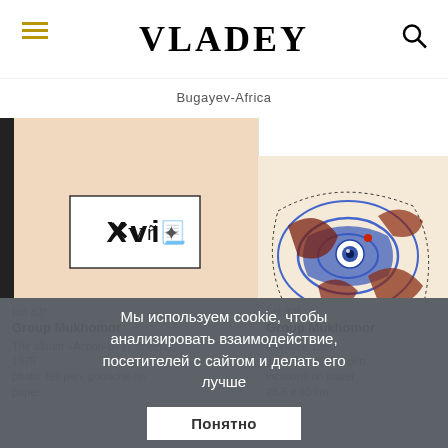VLADEY
Bugayev-Africa
[Figure (photo): Auction lot 32: an album cover with black symbols on light background]
[Figure (photo): Auction lot 33: colorful abstract artwork with blue, red-brown swirling shapes on light background]
Lot 32*
Group Mukhomor
The album «Action-8» (7 sheets), 1975
photo, felt pen, gouache on paper
Lot 33*
Group Mukhomor
Monster, 1980
gouache, felt-tip pen, incisions on paper
28.5 x 60 cm
Мы используем cookie, чтобы анализировать взаимодействие посетителей с сайтом и делать его лучше
Понятно